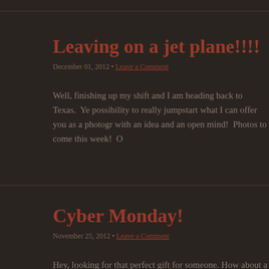Leaving on a jet plane!!!!
December 01, 2012 • Leave a Comment
Well, finishing up my shift and I am heading back to Texas.  Ye possibility to really jumpstart what I can offer you as a photogr with an idea and an open mind!  Photos to come this week!  O
Cyber Monday!
November 25, 2012 • Leave a Comment
Hey, looking for that perfect gift for someone. How about a pic discount on everything at my website.  Nothing says Happy H anywhere else in your home.  Visit www.rqifineart.com and tak